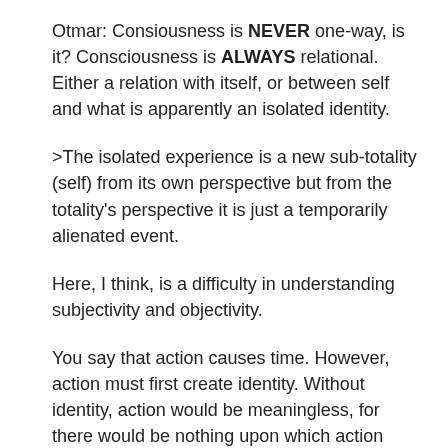Otmar: Consiousness is NEVER one-way, is it? Consciousness is ALWAYS relational. Either a relation with itself, or between self and what is apparently an isolated identity.
>The isolated experience is a new sub-totality (self) from its own perspective but from the totality's perspective it is just a temporarily alienated event.
Here, I think, is a difficulty in understanding subjectivity and objectivity.
You say that action causes time. However, action must first create identity. Without identity, action would be meaningless, for there would be nothing upon which action could act. For